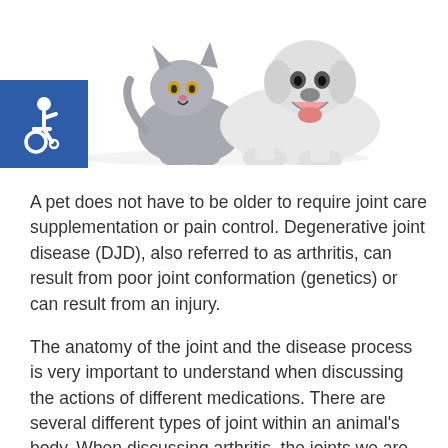[Figure (photo): A gray cat and a white dog together, posing side by side against a white background]
[Figure (illustration): Blue square with white wheelchair accessibility icon]
A pet does not have to be older to require joint care supplementation or pain control. Degenerative joint disease (DJD), also referred to as arthritis, can result from poor joint conformation (genetics) or can result from an injury.
The anatomy of the joint and the disease process is very important to understand when discussing the actions of different medications. There are several different types of joint within an animal's body. When discussing arthritis, the joints we are often concerned about are synovial joints (also called